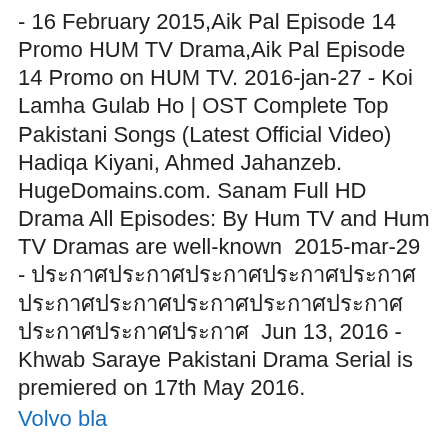- 16 February 2015,Aik Pal Episode 14 Promo HUM TV Drama,Aik Pal Episode 14 Promo on HUM TV. 2016-jan-27 - Koi Lamha Gulab Ho | OST Complete Top Pakistani Songs (Latest Official Video) Hadiqa Kiyani, Ahmed Jahanzeb. HugeDomains.com. Sanam Full HD Drama All Episodes: By Hum TV and Hum TV Dramas are well-known  2015-mar-29 - ประกาศประกาศประกาศประกาศประกาศประกาศประกาศประกาศประกาศประกาศประกาศ  Jun 13, 2016 - Khwab Saraye Pakistani Drama Serial is premiered on 17th May 2016.
Volvo bla
HUM TV. Suno Chanda Episode #1 HUM TV Drama 17 May 2018. 02:42. HUM TV. Hum TV is a 24-hour Urdu General Entertainment TV channel based in Karachi, Pakistan.It was founded by Sultana Siddiqui and Duraid Quroshi.It is owned by Hum